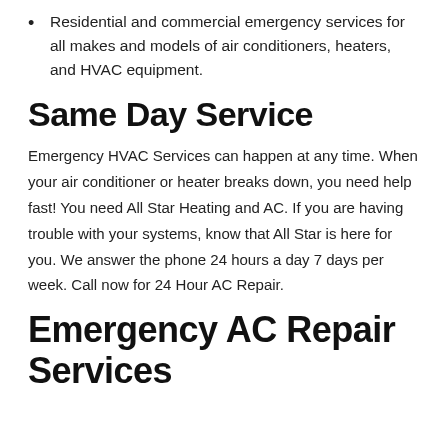Residential and commercial emergency services for all makes and models of air conditioners, heaters, and HVAC equipment.
Same Day Service
Emergency HVAC Services can happen at any time. When your air conditioner or heater breaks down, you need help fast! You need All Star Heating and AC. If you are having trouble with your systems, know that All Star is here for you. We answer the phone 24 hours a day 7 days per week. Call now for 24 Hour AC Repair.
Emergency AC Repair Services